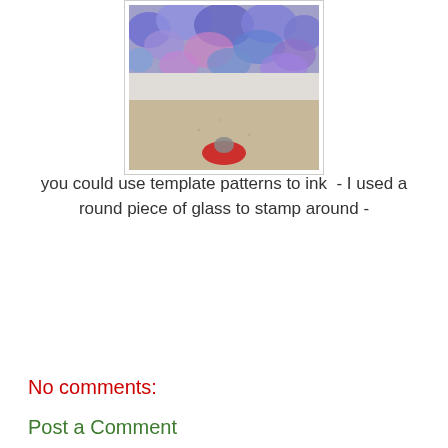[Figure (photo): A overhead view showing a colorful blue and purple paint or glitter art piece at the top, with a beige surface below and what appears to be a shoe or foot wearing red at the bottom of the image.]
you could use template patterns to ink  - I used a round piece of glass to stamp around -
DeborahRead.com
Share
No comments:
Post a Comment